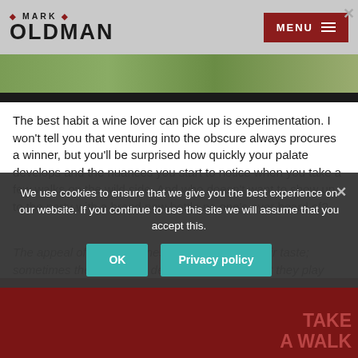MARK OLDMAN
[Figure (photo): Partial image of a person outdoors on green grass background with dark strip at bottom]
The best habit a wine lover can pick up is experimentation. I won't tell you that venturing into the obscure always procures a winner, but you'll be surprised how quickly your palate develops and the nuances you start to notice when you take a few walks on the wild side. And who doesn't want to show up to the party with a brand new bottle no one's ever heard of?
The appeal of esoteric wines is not always in their taste; sometimes they generate desire by the mere fact they play hard to get. While their rarity is thrilling, sometimes the...
We use cookies to ensure that we give you the best experience on our website. If you continue to use this site we will assume that you accept this.
[Figure (photo): Dark red background section at bottom with TAKE A WALK text overlay]